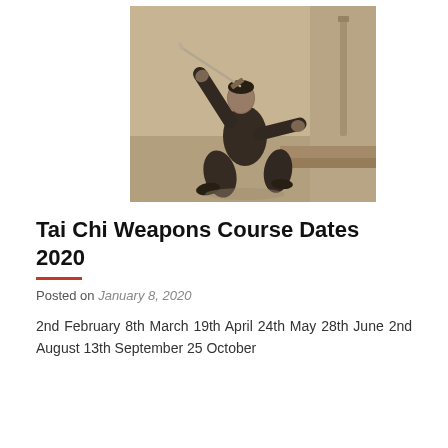[Figure (photo): Sepia-toned historical photograph of a martial artist in a wide stance holding a sword raised overhead with both hands, wearing traditional dark Chinese clothing, against a light wall background.]
Tai Chi Weapons Course Dates 2020
Posted on January 8, 2020
2nd February 8th March 19th April 24th May 28th June 2nd August 13th September 25 October